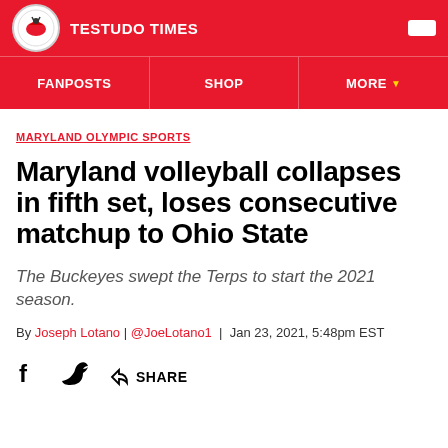TESTUDO TIMES
FANPOSTS | SHOP | MORE
MARYLAND OLYMPIC SPORTS
Maryland volleyball collapses in fifth set, loses consecutive matchup to Ohio State
The Buckeyes swept the Terps to start the 2021 season.
By Joseph Lotano | @JoeLotano1 | Jan 23, 2021, 5:48pm EST